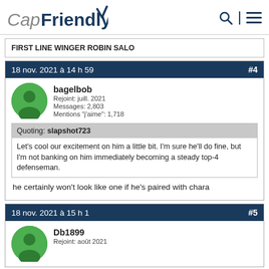CapFriendly
FIRST LINE WINGER ROBIN SALO
18 nov. 2021 à 14 h 59 #4
bagelbob
Rejoint: juill. 2021
Messages: 2,803
Mentions "j'aime": 1,718
Quoting: slapshot723
Let's cool our excitement on him a little bit. I'm sure he'll do fine, but I'm not banking on him immediately becoming a steady top-4 defenseman.
he certainly won't look like one if he's paired with chara
18 nov. 2021 à 15 h 1 #5
Db1899
Rejoint: août 2021